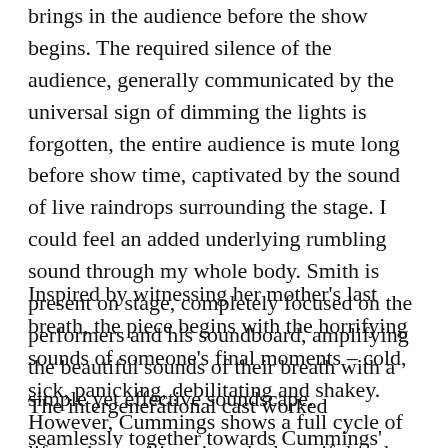brings in the audience before the show begins. The required silence of the audience, generally communicated by the universal sign of dimming the lights is forgotten, the entire audience is mute long before show time, captivated by the sound of live raindrops surrounding the stage. I could feel an added underlying rumbling sound through my whole body. Smith is present on stage, completely focused on the performers and his soundboard, amplifying the beautiful sounds of their breath with a simple yet effective soundscape.
Inspired by witnessing her mother's last breath, the piece begins with the horrifying sounds of someone's final moments – cold, sick, panicking, debilitating and shakey. However, Cummings shows a full cycle of life as it transitions into the beautiful and magical sound of a baby's first breath. To which, I couldn't help but smile.
The intergenerational cast worked seamlessly together towards Cummings' vision. The piece is performed by some of